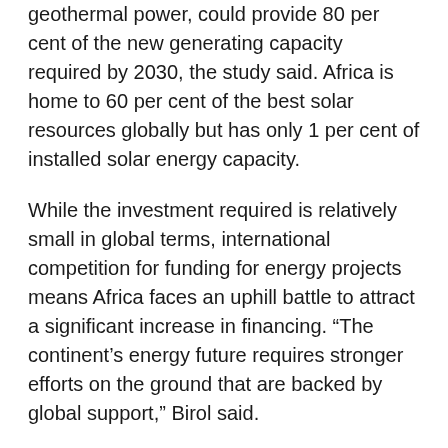geothermal power, could provide 80 per cent of the new generating capacity required by 2030, the study said. Africa is home to 60 per cent of the best solar resources globally but has only 1 per cent of installed solar energy capacity.
While the investment required is relatively small in global terms, international competition for funding for energy projects means Africa faces an uphill battle to attract a significant increase in financing. “The continent’s energy future requires stronger efforts on the ground that are backed by global support,” Birol said.
Despite the focus on renewable energy, Africa would also need to produce an additional 90bn